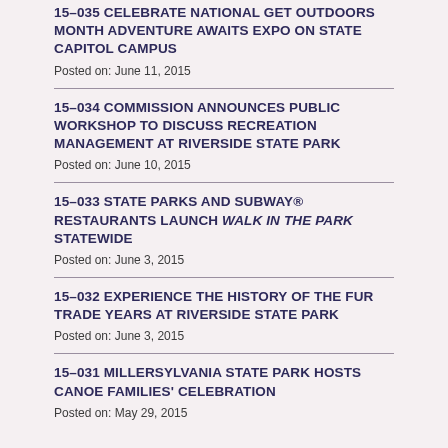15-035 CELEBRATE NATIONAL GET OUTDOORS MONTH ADVENTURE AWAITS EXPO ON STATE CAPITOL CAMPUS
Posted on: June 11, 2015
15-034 COMMISSION ANNOUNCES PUBLIC WORKSHOP TO DISCUSS RECREATION MANAGEMENT AT RIVERSIDE STATE PARK
Posted on: June 10, 2015
15-033 STATE PARKS AND SUBWAY® RESTAURANTS LAUNCH WALK IN THE PARK STATEWIDE
Posted on: June 3, 2015
15-032 EXPERIENCE THE HISTORY OF THE FUR TRADE YEARS AT RIVERSIDE STATE PARK
Posted on: June 3, 2015
15-031 MILLERSYLVANIA STATE PARK HOSTS CANOE FAMILIES' CELEBRATION
Posted on: May 29, 2015